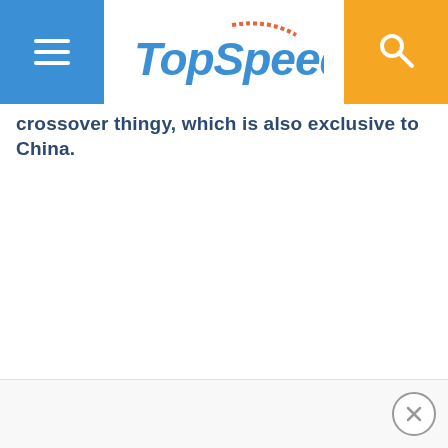TopSpeed
crossover thingy, which is also exclusive to China.